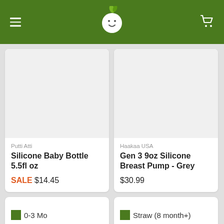Baby store header with logo and navigation
Putti Atti
Silicone Baby Bottle 5.5fl oz
SALE $14.45
Haakaa USA
Gen 3 9oz Silicone Breast Pump - Grey
$30.99
0-3 Mo
Straw (8 month+)